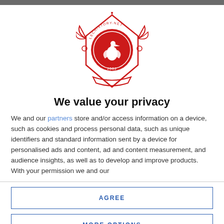[Figure (logo): Red shield/crest logo for lechistory.net with a pelican bird and '2002' inscription, surrounded by decorative elements]
We value your privacy
We and our partners store and/or access information on a device, such as cookies and process personal data, such as unique identifiers and standard information sent by a device for personalised ads and content, ad and content measurement, and audience insights, as well as to develop and improve products. With your permission we and our
AGREE
MORE OPTIONS
OPPOSITION LINEUP